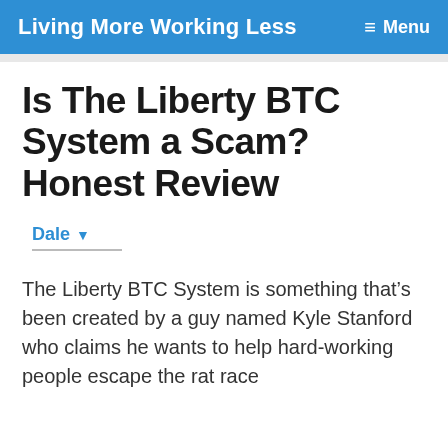Living More Working Less  ≡ Menu
Is The Liberty BTC System a Scam? Honest Review
Dale ▾
The Liberty BTC System is something that's been created by a guy named Kyle Stanford who claims he wants to help hard-working people escape the rat race